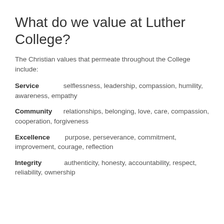What do we value at Luther College?
The Christian values that permeate throughout the College include:
Service    selflessness, leadership, compassion, humility, awareness, empathy
Community    relationships, belonging, love, care, compassion, cooperation, forgiveness
Excellence    purpose, perseverance, commitment, improvement, courage, reflection
Integrity    authenticity, honesty, accountability, respect, reliability, ownership